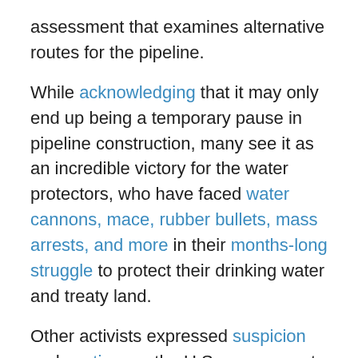assessment that examines alternative routes for the pipeline.
While acknowledging that it may only end up being a temporary pause in pipeline construction, many see it as an incredible victory for the water protectors, who have faced water cannons, mace, rubber bullets, mass arrests, and more in their months-long struggle to protect their drinking water and treaty land.
Other activists expressed suspicion and caution, as the U.S. government has historically retracted statements to Native Americans, and warned that the water protectors must remain vigilant.
Yet many voiced relief and celebrated the apparent victory. In a statement, the Standing Rock Sioux Tribe